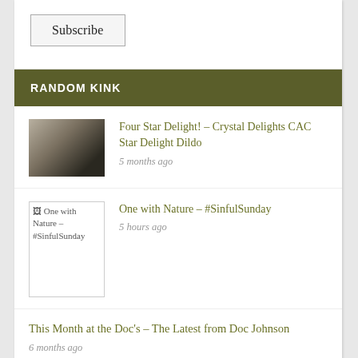Subscribe
RANDOM KINK
Four Star Delight! – Crystal Delights CAC Star Delight Dildo
5 months ago
One with Nature – #SinfulSunday
5 hours ago
This Month at the Doc's – The Latest from Doc Johnson
6 months ago
Yoga for Bondage Play? – How it Can Help
3 months ago